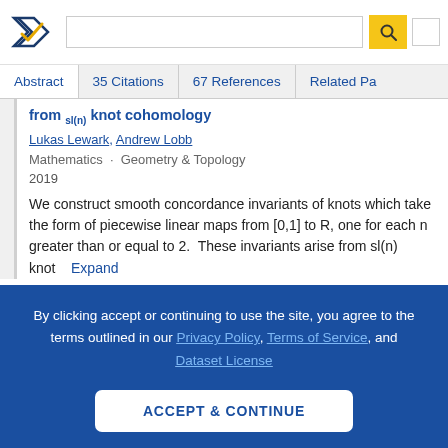[Figure (logo): Semantic Scholar logo - dark blue and gold checkmark/arrow symbol]
Abstract  35 Citations  67 References  Related Pa...
from sl(n) knot cohomology
Lukas Lewark, Andrew Lobb
Mathematics · Geometry & Topology
2019
We construct smooth concordance invariants of knots which take the form of piecewise linear maps from [0,1] to R, one for each n greater than or equal to 2. These invariants arise from sl(n) knot...  Expand
By clicking accept or continuing to use the site, you agree to the terms outlined in our Privacy Policy, Terms of Service, and Dataset License
ACCEPT & CONTINUE